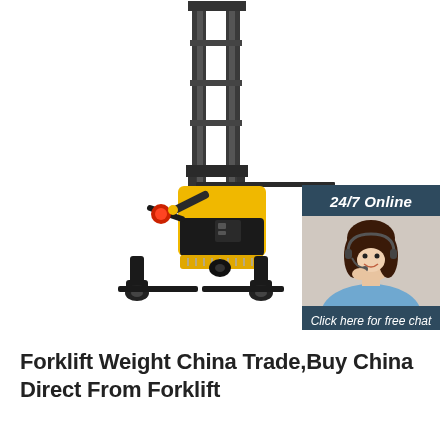[Figure (photo): Yellow and black electric walkie stacker forklift with tall mast and forks extended, on white background. Overlaid in the upper right is a chat widget with a dark teal/slate header reading '24/7 Online', a photo of a smiling woman with headset, text 'Click here for free chat !' and an orange button labeled 'QUOTATION'.]
Forklift Weight China Trade,Buy China Direct From Forklift